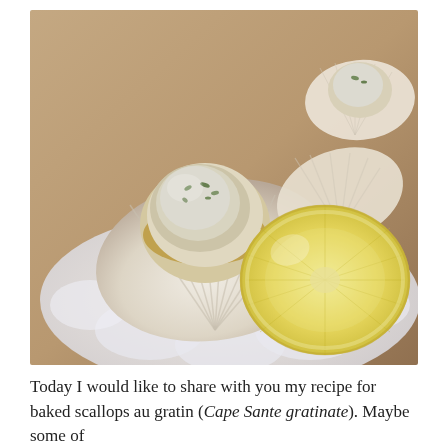[Figure (photo): Close-up photo of baked scallops au gratin served in their shells on a white plate, garnished with herbs, with a slice of lemon beside them. The scallops have a golden-brown crust and appear freshly baked.]
Today I would like to share with you my recipe for baked scallops au gratin (Cape Sante gratinate). Maybe some of